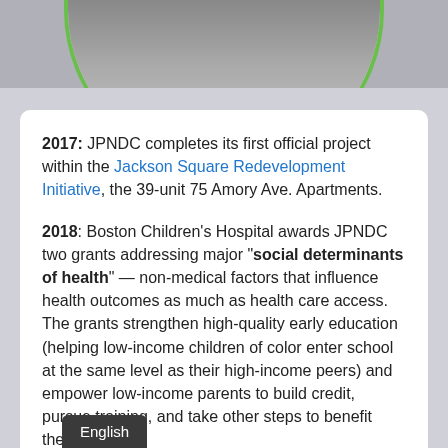[Figure (photo): Partial circular-masked photo at top of page showing people, with green arc border]
2017: JPNDC completes its first official project within the Jackson Square Redevelopment Initiative, the 39-unit 75 Amory Ave. Apartments.
2018: Boston Children's Hospital awards JPNDC two grants addressing major "social determinants of health" — non-medical factors that influence health outcomes as much as health care access. The grants strengthen high-quality early education (helping low-income children of color enter school at the same level as their high-income peers) and empower low-income parents to build credit, pursue training, and take other steps to benefit their families.
English